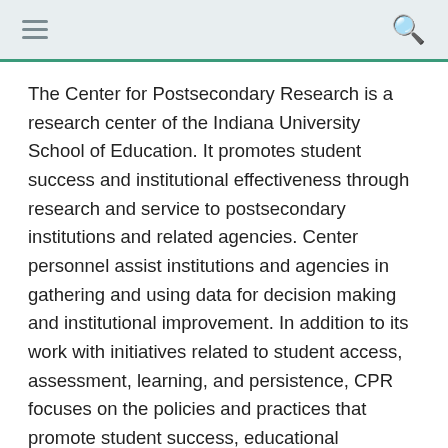The Center for Postsecondary Research is a research center of the Indiana University School of Education. It promotes student success and institutional effectiveness through research and service to postsecondary institutions and related agencies. Center personnel assist institutions and agencies in gathering and using data for decision making and institutional improvement. In addition to its work with initiatives related to student access, assessment, learning, and persistence, CPR focuses on the policies and practices that promote student success, educational effectiveness, and institutional development. The Center has long been involved in global higher education research initiatives. It houses the National Survey of Student Engagement and has recently been involved in an ongoing partnership with the National